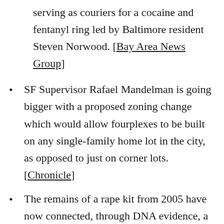serving as couriers for a cocaine and fentanyl ring led by Baltimore resident Steven Norwood. [Bay Area News Group]
SF Supervisor Rafael Mandelman is going bigger with a proposed zoning change which would allow fourplexes to be built on any single-family home lot in the city, as opposed to just on corner lots. [Chronicle]
The remains of a rape kit from 2005 have now connected, through DNA evidence, a serial rape and homicide suspect already in custody with an assault in Berkeley, the...